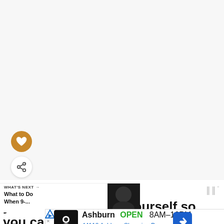[Figure (screenshot): White/light grey blank area at top of page, social media app interface]
[Figure (infographic): Heart (like) button - circular brown/gold button with white heart icon]
[Figure (infographic): Share button - circular white button with share icon]
WHAT'S NEXT → What to Do When 9-...
You must look after yourself so you can
Ashburn  OPEN  8AM–10PM  44110 Ashburn Shopping P...